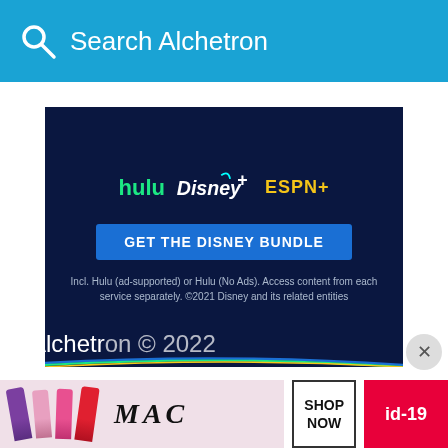Search Alchetron
[Figure (infographic): Disney Bundle advertisement showing Hulu, Disney+, and ESPN+ logos with 'GET THE DISNEY BUNDLE' button and fine print text: 'Incl. Hulu (ad-supported) or Hulu (No Ads). Access content from each service separately. ©2021 Disney and its related entities']
About
Terms
Privacy
Contact
Alchetr...
[Figure (advertisement): MAC cosmetics advertisement showing lipsticks with 'SHOP NOW' button and 'id-19' badge]